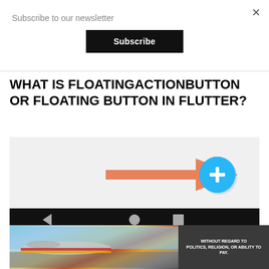Subscribe to our newsletter
Subscribe
WHAT IS FLOATINGACTIONBUTTON OR FLOATING BUTTON IN FLUTTER?
[Figure (screenshot): Screenshot of a Flutter app showing a floating action button (blue circle with + icon) with an orange arrow pointing to it, and a black Android navigation bar at the bottom.]
[Figure (photo): Advertisement showing an airplane being loaded with cargo, with text overlay reading WITHOUT REGARD TO POLITICS, RELIGION, OR ABILITY TO PAY.]